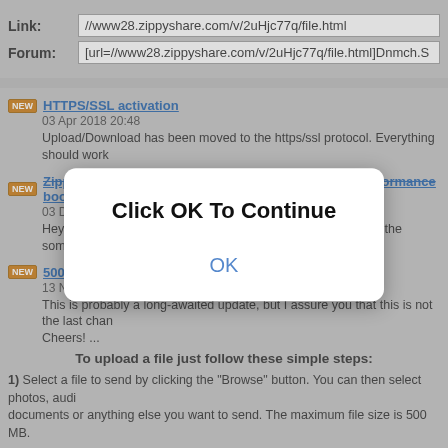Link: //www28.zippyshare.com/v/2uHjc77q/file.html
Forum: [url=//www28.zippyshare.com/v/2uHjc77q/file.html]Dnmch.S
[Figure (screenshot): Modal dialog box with text 'Click OK To Continue' and an OK button in blue]
HTTPS/SSL activation
03 Apr 2018 20:48
Upload/Download has been moved to the https/ssl protocol. Everything should work
ZippyUploader update, Docs and Videos encoding performance boost
03 Dec 2017 21:31
Hey folks, A quick update - Today a new version (0.0.16.0) of the something
500MB: We just increased the file size limit
13 Nov 2017 00:08
This is probably a long-awaited update, but I assure you that this is not the last change. Cheers! ...
To upload a file just follow these simple steps:
1) Select a file to send by clicking the "Browse" button. You can then select photos, audio, documents or anything else you want to send. The maximum file size is 500 MB.